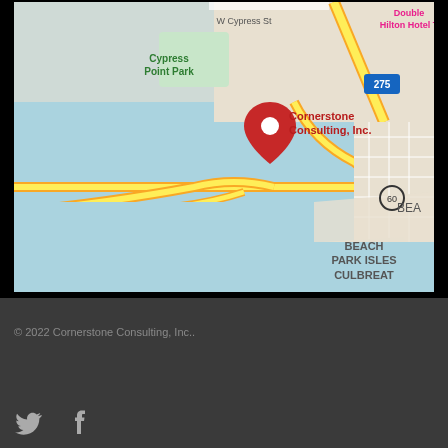[Figure (map): Google Maps screenshot showing Cornerstone Consulting, Inc. location near Cypress Point Park, Tampa/Beach Park area. Features water bodies, highways 275 and 60, and neighborhood labels including Beach Park Isles and Culbreat. A red location pin marks Cornerstone Consulting, Inc.]
© 2022 Cornerstone Consulting, Inc..
[Figure (other): Social media icons: Twitter bird icon and Facebook 'f' icon, white on dark background]